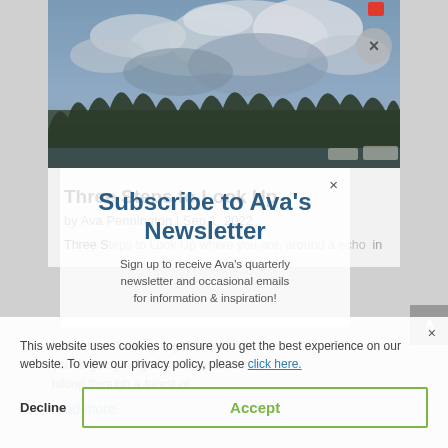[Figure (photo): Outdoor scene showing cloudy sky with trees silhouetted below, muted blue-grey tones, landscape orientation at top of article page.]
Three Steps to Look Up
by Ava Pennington | Sep 1, 2022
Three S... ...where you are, around a echo in
This website uses cookies to ensure you get the best experience on our website. To view our privacy policy, please click here.
Subscribe to Ava's Newsletter
Sign up to receive Ava's quarterly newsletter and occasional emails for information & inspiration!
read more